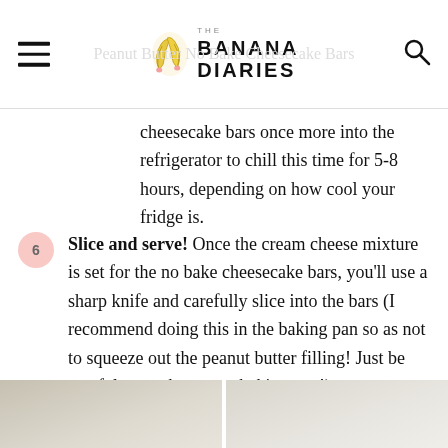THE BANANA DIARIES
cheesecake bars once more into the refrigerator to chill this time for 5-8 hours, depending on how cool your fridge is.
6 Slice and serve! Once the cream cheese mixture is set for the no bake cheesecake bars, you'll use a sharp knife and carefully slice into the bars (I recommend doing this in the baking pan so as not to squeeze out the peanut butter filling! Just be careful not to hurt your baking pan!).
[Figure (photo): Two side-by-side food/recipe photos at the bottom of the page, partially visible]